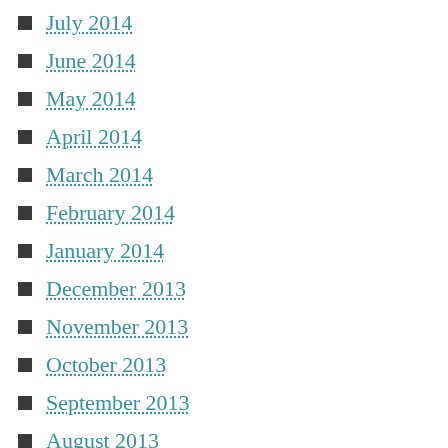July 2014
June 2014
May 2014
April 2014
March 2014
February 2014
January 2014
December 2013
November 2013
October 2013
September 2013
August 2013
July 2013
June 2013
May 2013
April 2013